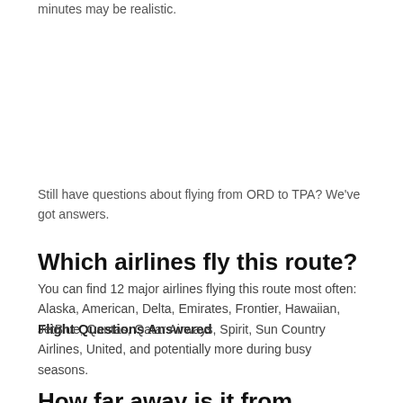minutes may be realistic.
Flight Questions Answered
Still have questions about flying from ORD to TPA? We've got answers.
Which airlines fly this route?
You can find 12 major airlines flying this route most often: Alaska, American, Delta, Emirates, Frontier, Hawaiian, JetBlue, Qantas, Qatar Airways, Spirit, Sun Country Airlines, United, and potentially more during busy seasons.
How far away is it from Tampa